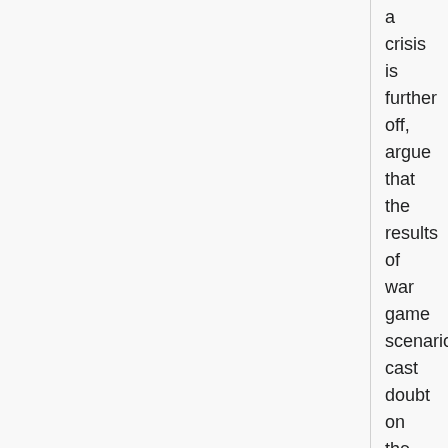a crisis is further off, argue that the results of war game scenarios cast doubt on the argument that a war is the most likely result of the Oil Bourse.
The services sector has seen the greatest long-term growth in terms of its share of GDP, but the sector remains volatile. State investment has boosted agriculture, however, with the liberalisation of production and the improvement of packaging and marketing helping to develop new export markets. Large-scale irrigation schemes, together with the wider production of export-based agricultural items such as dates, flowers and pistachios, produced the fastest economic growth of any sector in Iran over much of the 1990s, although successive years of severe drought in 1998, 1999, 2000, and 2001 have held back output growth substantially. Agriculture remains one of the largest employers, accounting for 22% of all jobs according to the 1991 census. According to the U.N. World Drug Report for 2005, Iran has the highest proportion of opiate